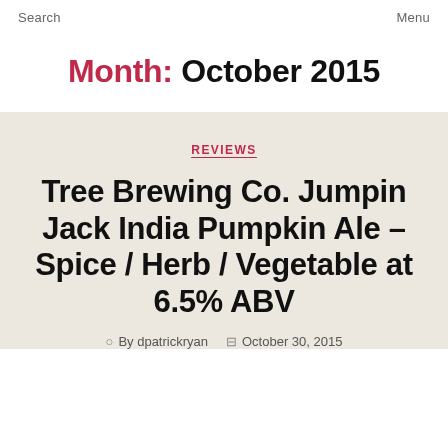Search  Menu
Month: October 2015
REVIEWS
Tree Brewing Co. Jumpin Jack India Pumpkin Ale – Spice / Herb / Vegetable at 6.5% ABV
By dpatrickryan   October 30, 2015